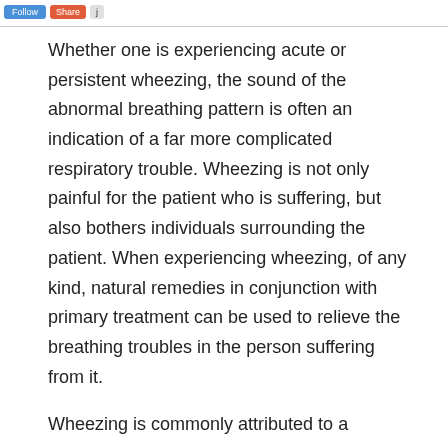[Share buttons]
Whether one is experiencing acute or persistent wheezing, the sound of the abnormal breathing pattern is often an indication of a far more complicated respiratory trouble. Wheezing is not only painful for the patient who is suffering, but also bothers individuals surrounding the patient. When experiencing wheezing, of any kind, natural remedies in conjunction with primary treatment can be used to relieve the breathing troubles in the person suffering from it.
Wheezing is commonly attributed to a